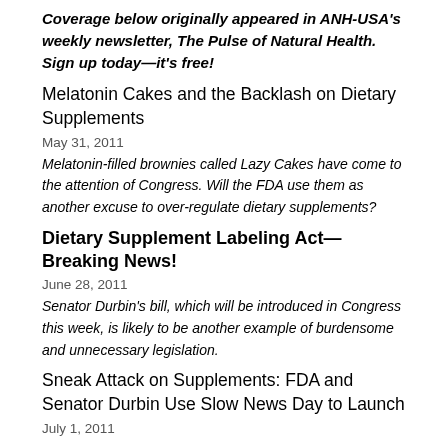Coverage below originally appeared in ANH-USA's weekly newsletter, The Pulse of Natural Health. Sign up today—it's free!
Melatonin Cakes and the Backlash on Dietary Supplements
May 31, 2011
Melatonin-filled brownies called Lazy Cakes have come to the attention of Congress. Will the FDA use them as another excuse to over-regulate dietary supplements?
Dietary Supplement Labeling Act—Breaking News!
June 28, 2011
Senator Durbin's bill, which will be introduced in Congress this week, is likely to be another example of burdensome and unnecessary legislation.
Sneak Attack on Supplements: FDA and Senator Durbin Use Slow News Day to Launch
July 1, 2011